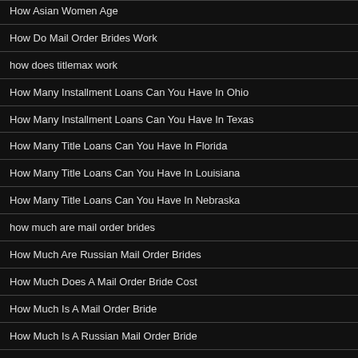How Asian Women Age
How Do Mail Order Brides Work
how does titlemax work
How Many Installment Loans Can You Have In Ohio
How Many Installment Loans Can You Have In Texas
How Many Title Loans Can You Have In Florida
How Many Title Loans Can You Have In Louisiana
How Many Title Loans Can You Have In Nebraska
how much are mail order brides
How Much Are Russian Mail Order Brides
How Much Does A Mail Order Bride Cost
How Much Is A Mail Order Bride
How Much Is A Russian Mail Order Bride